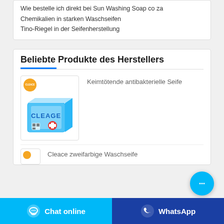Wie bestelle ich direkt bei Sun Washing Soap co za
Chemikalien in starken Waschseifen
Tino-Riegel in der Seifenherstellung
Beliebte Produkte des Herstellers
[Figure (photo): Cleace antibacterial soap product box with orange circle logo]
Keimtötende antibakterielle Seife
[Figure (photo): Cleace product image partial, orange circle logo]
Cleace zweifarbige Waschseife
Chat online
WhatsApp